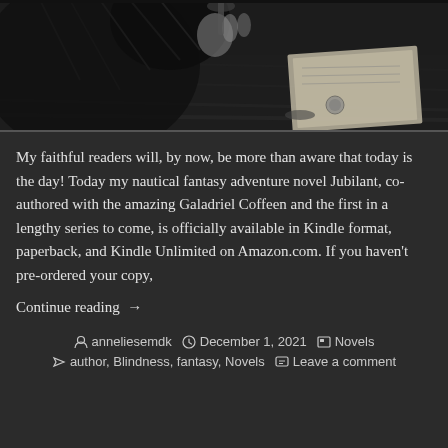[Figure (illustration): Black and white ink illustration showing hands near a plate and an open book/letter on a wooden table surface, viewed from above.]
My faithful readers will, by now, be more than aware that today is the day! Today my nautical fantasy adventure novel Jubilant, co-authored with the amazing Galadriel Coffeen and the first in a lengthy series to come, is officially available in Kindle format, paperback, and Kindle Unlimited on Amazon.com. If you haven't pre-ordered your copy,
Continue reading →
anneliesemdk  December 1, 2021  Novels  author, Blindness, fantasy, Novels  Leave a comment